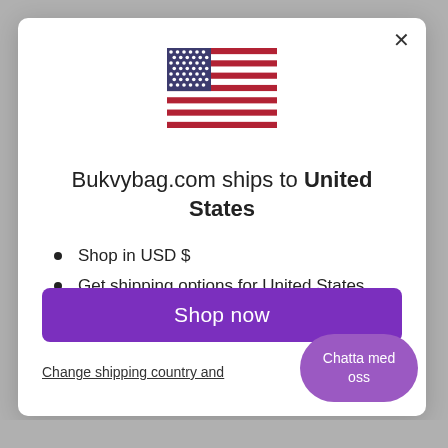[Figure (illustration): US flag SVG illustration centered at top of modal dialog]
Bukvybag.com ships to United States
Shop in USD $
Get shipping options for United States
Language set to English
Shop now
Change shipping country and
Chatta med oss